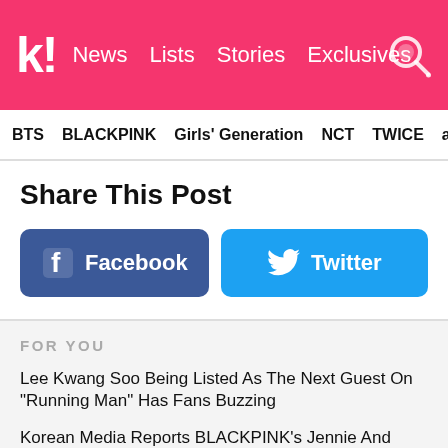k! News Lists Stories Exclusives
BTS  BLACKPINK  Girls' Generation  NCT  TWICE  aespa
Share This Post
[Figure (infographic): Facebook share button (dark blue, rounded rectangle) and Twitter share button (light blue, rounded rectangle) side by side]
FOR YOU
Lee Kwang Soo Being Listed As The Next Guest On "Running Man" Has Fans Buzzing
Korean Media Reports BLACKPINK's Jennie And BTS's V